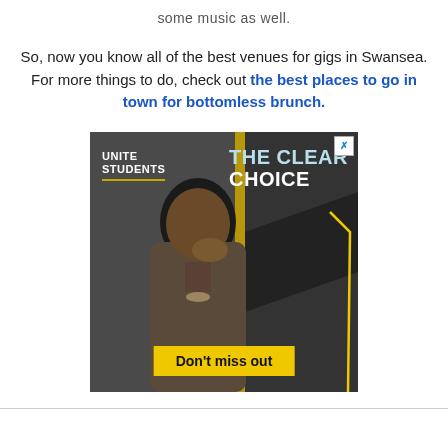some music as well.
So, now you know all of the best venues for gigs in Swansea. For more things to do, check out the best places to go in town for bottomless brunch.
[Figure (photo): Advertisement for Unite Students showing a smiling young man with text 'THE CLEAR CHOICE' and 'Don't miss out']